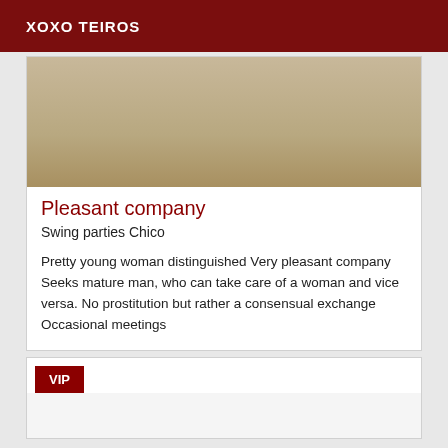XOXO TEIROS
[Figure (photo): Beige/tan textured surface photo, cropped]
Pleasant company
Swing parties Chico
Pretty young woman distinguished Very pleasant company Seeks mature man, who can take care of a woman and vice versa. No prostitution but rather a consensual exchange Occasional meetings
VIP